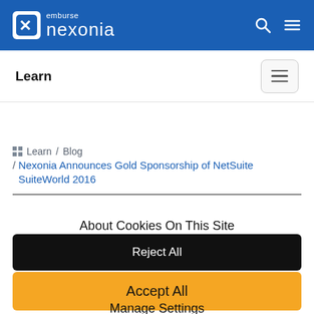emburse nexonia
Learn
Learn / Blog / Nexonia Announces Gold Sponsorship of NetSuite SuiteWorld 2016
About Cookies On This Site
Reject All
Accept All
Manage Settings